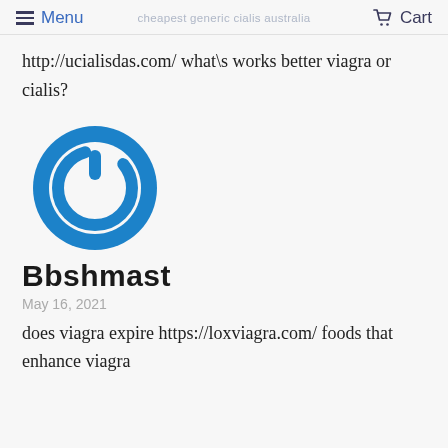Menu | cheapest generic cialis australia | Cart
http://ucialisdas.com/ what\s works better viagra or cialis?
[Figure (logo): Blue circular power button logo icon]
Bbshmast
May 16, 2021
does viagra expire https://loxviagra.com/ foods that enhance viagra